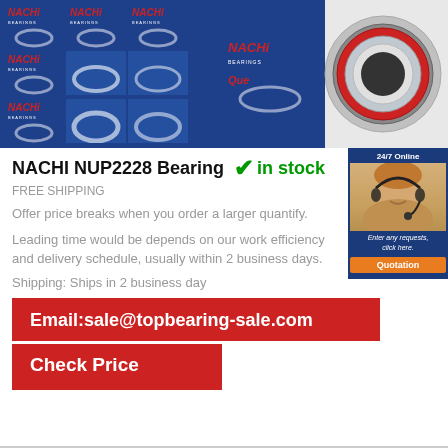[Figure (photo): Two product images: left shows stacked blue NACHI Bearings boxes with white circular logos, right shows a bearing ring (chrome/silver) next to a blue box with 'Que...' branding]
NACHI NUP2228 Bearing
in stock
[Figure (photo): 24/7 Online customer service sidebar showing a woman with headset, text 'Enter any requests, click here.' and an orange Quotation button]
FREE SHIPPING
Offer price breaks when you order a larger quantify.
Leading time would be depends on our work efficiency and delivery schedule, usually within 2 business days.
Shipping: Ships in 2 business day
Email:sale@topbearing-sale.com
Check Price